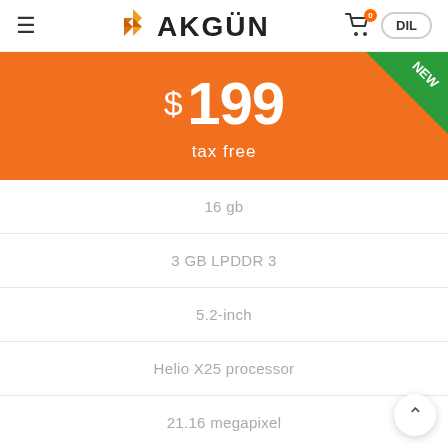AKGUN — DIL
$ 199
tax free
16 gb
3 GB LPDDR 3
5.2-inch
Helio X25 processor
21.16 megapixel